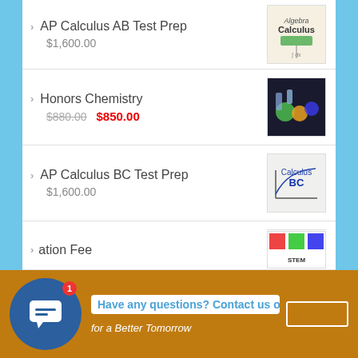AP Calculus AB Test Prep — $1,600.00
Honors Chemistry — $880.00  $850.00
AP Calculus BC Test Prep — $1,600.00
Honors Gemoetry&Trigonometry — $850.00  $820.00
Registration Fee (partial)
Have any questions? Contact us on WeChat or
for a Better Tomorrow